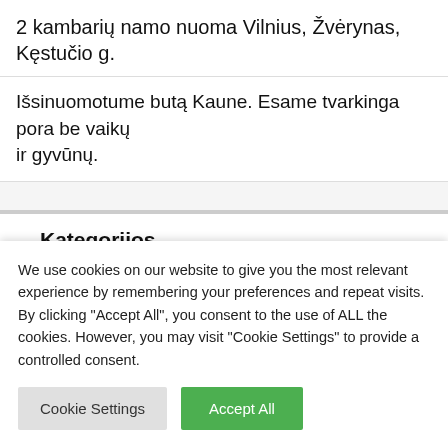2 kambarių namo nuoma Vilnius, Žvėrynas, Kęstučio g.
Išsinuomotume butą Kaune. Esame tvarkinga pora be vaikų ir gyvūnų.
Kategorijos
Butai valandai, parai
Butu nuoma
We use cookies on our website to give you the most relevant experience by remembering your preferences and repeat visits. By clicking "Accept All", you consent to the use of ALL the cookies. However, you may visit "Cookie Settings" to provide a controlled consent.